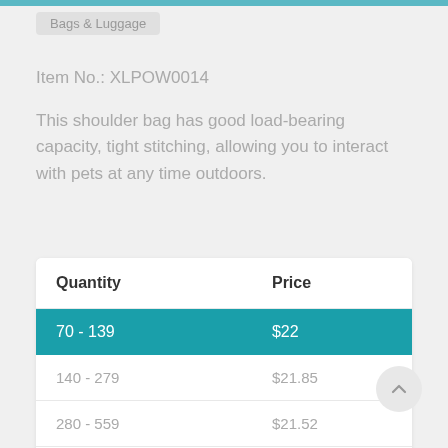Bags & Luggage
Item No.: XLPOW0014
This shoulder bag has good load-bearing capacity, tight stitching, allowing you to interact with pets at any time outdoors.
| Quantity | Price |
| --- | --- |
| 70 - 139 | $22 |
| 140 - 279 | $21.85 |
| 280 - 559 | $21.52 |
| 560 - 1,679 | $21.02 |